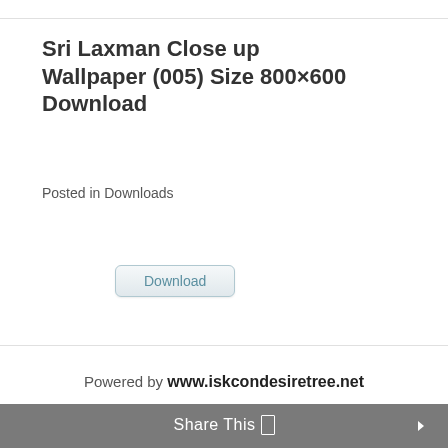Sri Laxman Close up Wallpaper (005) Size 800×600 Download
Posted in Downloads
[Figure (screenshot): Download button with rounded rectangle border and teal-colored text]
Powered by www.iskcondesiretree.net
Share This